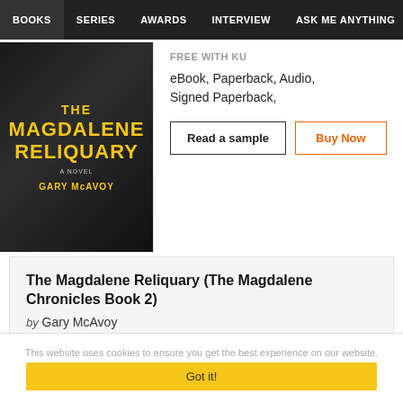BOOKS | SERIES | AWARDS | INTERVIEW | ASK ME ANYTHING | CON
[Figure (photo): Book cover of The Magdalene Reliquary - A Novel by Gary McAvoy, with yellow title text on a dark background]
FREE WITH KU
eBook, Paperback, Audio, Signed Paperback,
Read a sample | Buy Now
The Magdalene Reliquary (The Magdalene Chronicles Book 2)
by Gary McAvoy
Publish: Dec 01, 2020
This website uses cookies to ensure you get the best experience on our website.
Got it!